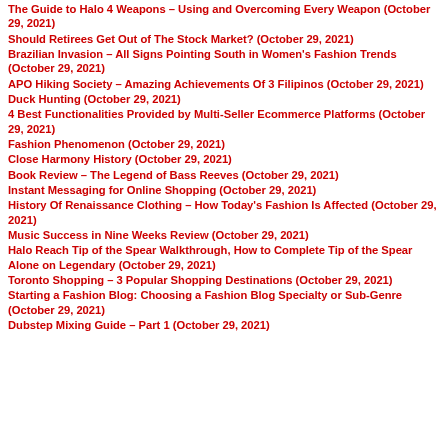The Guide to Halo 4 Weapons – Using and Overcoming Every Weapon (October 29, 2021)
Should Retirees Get Out of The Stock Market? (October 29, 2021)
Brazilian Invasion – All Signs Pointing South in Women's Fashion Trends (October 29, 2021)
APO Hiking Society – Amazing Achievements Of 3 Filipinos (October 29, 2021)
Duck Hunting (October 29, 2021)
4 Best Functionalities Provided by Multi-Seller Ecommerce Platforms (October 29, 2021)
Fashion Phenomenon (October 29, 2021)
Close Harmony History (October 29, 2021)
Book Review – The Legend of Bass Reeves (October 29, 2021)
Instant Messaging for Online Shopping (October 29, 2021)
History Of Renaissance Clothing – How Today's Fashion Is Affected (October 29, 2021)
Music Success in Nine Weeks Review (October 29, 2021)
Halo Reach Tip of the Spear Walkthrough, How to Complete Tip of the Spear Alone on Legendary (October 29, 2021)
Toronto Shopping – 3 Popular Shopping Destinations (October 29, 2021)
Starting a Fashion Blog: Choosing a Fashion Blog Specialty or Sub-Genre (October 29, 2021)
Dubstep Mixing Guide – Part 1 (October 29, 2021)